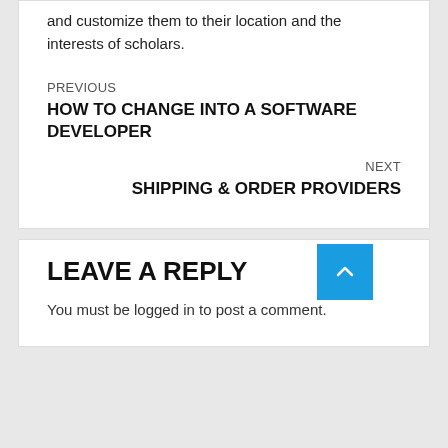and customize them to their location and the interests of scholars.
PREVIOUS
HOW TO CHANGE INTO A SOFTWARE DEVELOPER
NEXT
SHIPPING & ORDER PROVIDERS
LEAVE A REPLY
You must be logged in to post a comment.